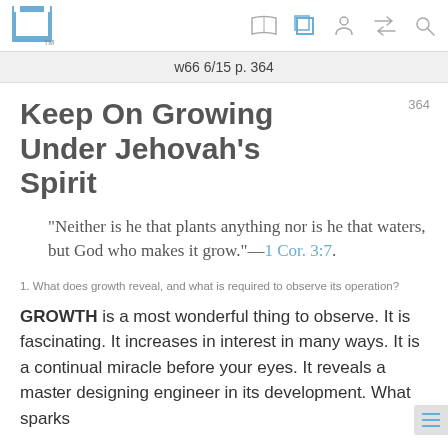w66 6/15 p. 364
Keep On Growing Under Jehovah's Spirit
“Neither is he that plants anything nor is he that waters, but God who makes it grow.”—1 Cor. 3:7.
1. What does growth reveal, and what is required to observe its operation?
GROWTH is a most wonderful thing to observe. It is fascinating. It increases in interest in many ways. It is a continual miracle before your eyes. It reveals a mas… designing engineer in its development. What sparks…